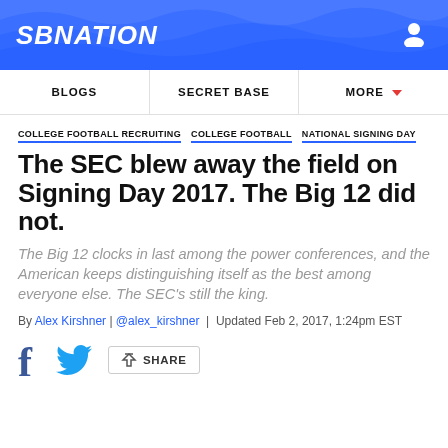SBNATION
BLOGS | SECRET BASE | MORE
COLLEGE FOOTBALL RECRUITING   COLLEGE FOOTBALL   NATIONAL SIGNING DAY
The SEC blew away the field on Signing Day 2017. The Big 12 did not.
The Big 12 clocks in last among the power conferences, and the American keeps distinguishing itself as the best among everyone else. The SEC's still the king.
By Alex Kirshner | @alex_kirshner | Updated Feb 2, 2017, 1:24pm EST
SHARE